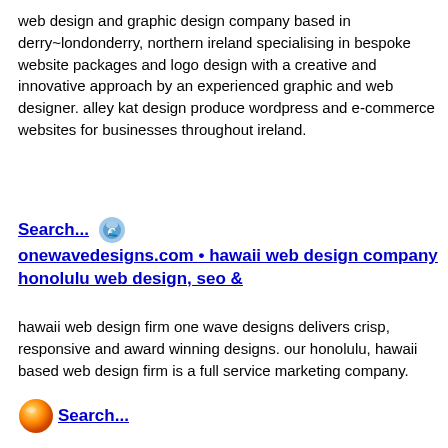web design and graphic design company based in derry~londonderry, northern ireland specialising in bespoke website packages and logo design with a creative and innovative approach by an experienced graphic and web designer. alley kat design produce wordpress and e-commerce websites for businesses throughout ireland.
Search... onewavedesigns.com • hawaii web design company honolulu web design, seo &
hawaii web design firm one wave designs delivers crisp, responsive and award winning designs. our honolulu, hawaii based web design firm is a full service marketing company.
Search...